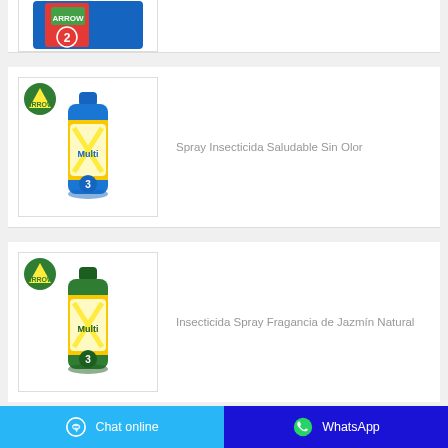[Figure (photo): Partial product image at top of page showing a blue box product (Arrow brand) - cropped]
[Figure (photo): Arrow brand blue spray insecticide can with yellow label (Multi 3), shown with Arrow logo in corner]
Spray Insecticida Saludable Sin Olor
[Figure (photo): Arrow brand green spray insecticide can with yellow label (Multi 3), shown with Arrow logo in corner]
Insecticida Spray Fragancia de Jazmín Natural
Chat online
WhatsApp